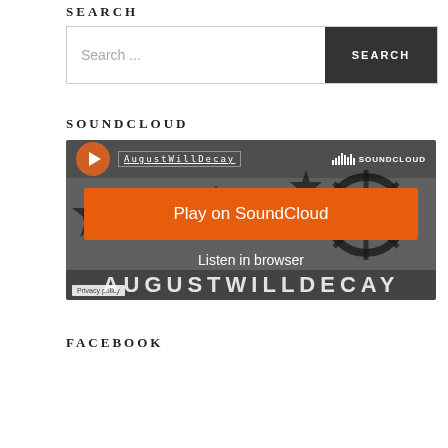SEARCH
Search ...
SEARCH
SOUNDCLOUD
[Figure (screenshot): SoundCloud embedded widget showing AugustWillDecay user, play button, 'Play on SoundCloud' orange button, 'Listen in browser' text, and Privacy policy link over a dark industrial background image.]
FACEBOOK